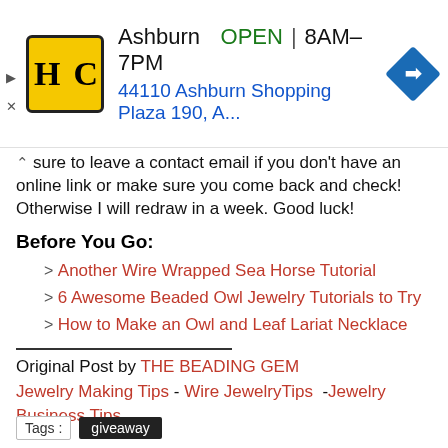[Figure (infographic): Google Maps style ad banner for HC (Home Depot style store) in Ashburn, showing logo, OPEN status, hours 8AM-7PM, address 44110 Ashburn Shopping Plaza 190, A..., and a blue navigation diamond icon]
sure to leave a contact email if you don't have an online link or make sure you come back and check! Otherwise I will redraw in a week. Good luck!
Before You Go:
Another Wire Wrapped Sea Horse Tutorial
6 Awesome Beaded Owl Jewelry Tutorials to Try
How to Make an Owl and Leaf Lariat Necklace
Original Post by THE BEADING GEM
Jewelry Making Tips - Wire JewelryTips -Jewelry Business Tips
Tags : giveaway